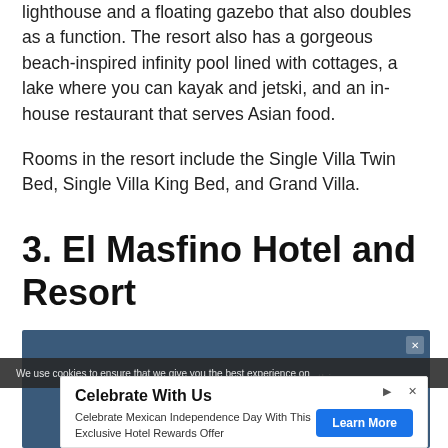lighthouse and a floating gazebo that also doubles as a function. The resort also has a gorgeous beach-inspired infinity pool lined with cottages, a lake where you can kayak and jetski, and an in-house restaurant that serves Asian food.
Rooms in the resort include the Single Villa Twin Bed, Single Villa King Bed, and Grand Villa.
3. El Masfino Hotel and Resort
[Figure (other): Embedded video player showing 'No compatible source was found for this media.' with a close button]
We use cookies to ensure that we give you the best experience on
[Figure (other): Advertisement overlay: 'Celebrate With Us - Celebrate Mexican Independence Day With This Exclusive Hotel Rewards Offer' from rwlasvegas.com with a Learn More button]